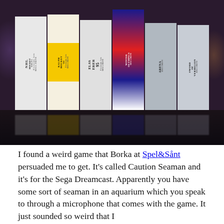[Figure (photo): Photograph of several Sega Mega Drive game cartridges standing upright on a dark surface. Games visible include NHL Hockey, Ralph Hockey 93, Elseser 95, Winter Olympics, Arena, and Sword of Vermilion, all showing their spine labels. The cartridges are reflected on the shiny dark table surface below them.]
I found a weird game that Borka at Spel&Sånt persuaded me to get. It's called Caution Seaman and it's for the Sega Dreamcast. Apparently you have some sort of seaman in an aquarium which you speak to through a microphone that comes with the game. It just sounded so weird that I